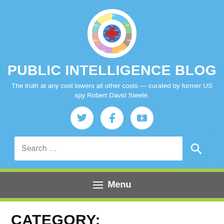[Figure (logo): Circular logo with globe and fire department-style emblem with colored segment labels: NGO, ICA, GOV, CDIA, SDA, UN, ACC, USA]
PUBLIC INTELLIGENCE BLOG
The truth at any cost lowers all other costs — curated by former US spy Robert David Steele.
[Figure (infographic): Three white circular social media icons: Twitter (bird), Facebook (f), YouTube (play button) on blue background]
Search …
Menu
CATEGORY: INTELLIGENCE (COLLECTIVE & QUANTUM)